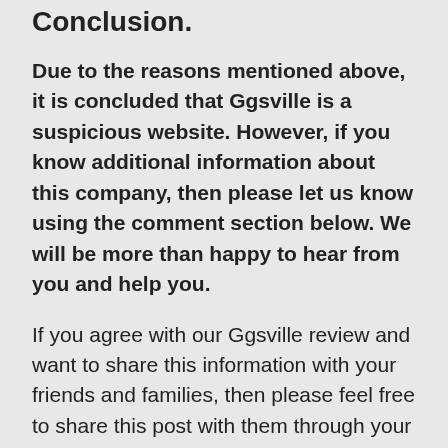Conclusion.
Due to the reasons mentioned above, it is concluded that Ggsville is a suspicious website. However, if you know additional information about this company, then please let us know using the comment section below. We will be more than happy to hear from you and help you.
If you agree with our Ggsville review and want to share this information with your friends and families, then please feel free to share this post with them through your social media accounts.
Please feel free to use the search box on our website to find the review of the site that you are looking for. Or, you can comment below or in any other posts and ask us to check the site. We will be more than happy to help you and